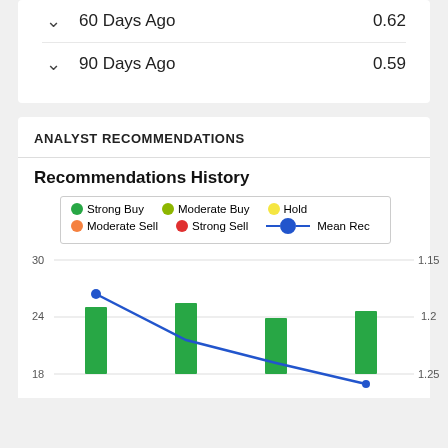|  | Period | Value |
| --- | --- | --- |
| ▼ | 60 Days Ago | 0.62 |
| ▼ | 90 Days Ago | 0.59 |
ANALYST RECOMMENDATIONS
Recommendations History
[Figure (line-chart): Bar and line chart showing analyst recommendation history over time. Bars represent Strong Buy count (~24-25 range). Blue line shows Mean Rec declining from ~1.18 to ~1.25+. Y-axis left: 18-30, Y-axis right: 1.15-1.25+.]